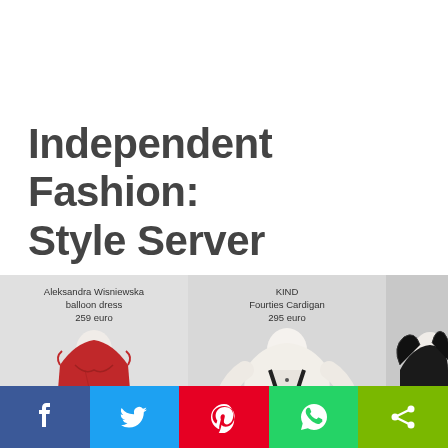Independent Fashion: Style Server
[Figure (photo): Three fashion items on mannequins: a red balloon dress labeled 'Aleksandra Wisniewska balloon dress 259 euro', a white knit cardigan with black trim labeled 'KIND Fourties Cardigan 295 euro', and a black ruffled jacket on the right.]
[Figure (infographic): Social sharing bar at the bottom with five buttons: Facebook (blue), Twitter (light blue), Pinterest (red), WhatsApp (green), Share (yellow-green).]